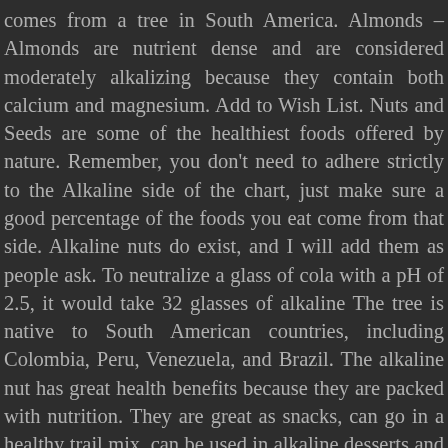comes from a tree in South America. Almonds – Almonds are nutrient dense and are considered moderately alkalizing because they contain both calcium and magnesium. Add to Wish List. Nuts and Seeds are some of the healthiest foods offered by nature. Remember, you don't need to adhere strictly to the Alkaline side of the chart, just make sure a good percentage of the foods you eat come from that side. Alkaline nuts do exist, and I will add them as people ask. To neutralize a glass of cola with a pH of 2.5, it would take 32 glasses of alkaline The tree is native to South American countries, including Colombia, Peru, Venezuela, and Brazil. The alkaline nut has great health benefits because they are packed with nutrition. They are great as snacks, can go in a healthy trail mix, can be used in alkaline desserts and my favorite...added to your favorite alkaline breakfast smoothie! Proponents of the alkaline diet claim that when a person eats acid-promoting foods, the body must leach alkaline-rich minerals from the bones to balance the pH of the blood (Bruno, 2013). Herbal teas are alkaline